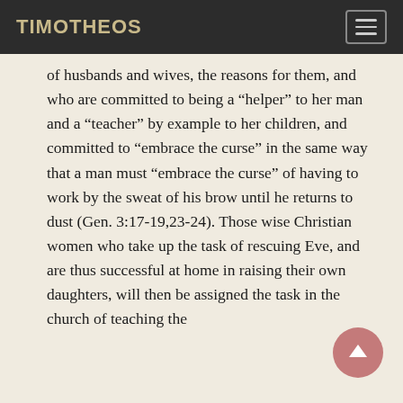TIMOTHEOS
of husbands and wives, the reasons for them, and who are committed to being a “helper” to her man and a “teacher” by example to her children, and committed to “ambrace the curse” in the same way that a man must “ambrace the curse” of having to work by the sweat of his brow until he returns to dust (Gen. 3:17-19,23-24). Those wise Christian women who take up the task of rescuing Eve, and are thus successful at home in raising their own daughters, will then be assigned the task in the church of teaching the